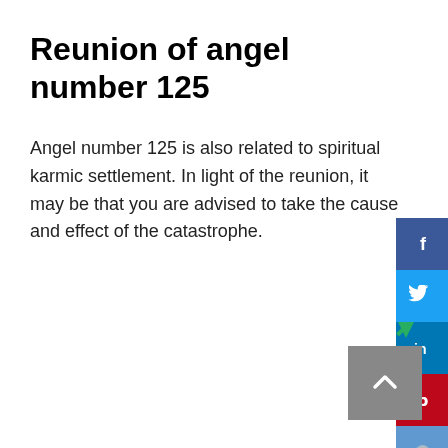Reunion of angel number 125
Angel number 125 is also related to spiritual karmic settlement. In light of the reunion, it may be that you are advised to take the cause and effect of the catastrophe.
[Figure (other): Social media sharing sidebar with Facebook (blue), Twitter (light blue), LinkedIn (dark blue), Pinterest (red), Reddit (light blue), Mix (orange) buttons]
[Figure (other): Scroll to top button (grey square with upward chevron) and green play/arrow icon above it]